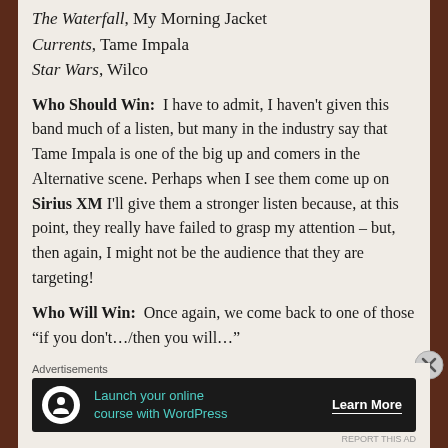The Waterfall, My Morning Jacket
Currents, Tame Impala
Star Wars, Wilco
Who Should Win:  I have to admit, I haven't given this band much of a listen, but many in the industry say that Tame Impala is one of the big up and comers in the Alternative scene. Perhaps when I see them come up on Sirius XM I'll give them a stronger listen because, at this point, they really have failed to grasp my attention – but, then again, I might not be the audience that they are targeting!
Who Will Win:  Once again, we come back to one of those “if you don't…/then you will…"
Advertisements
[Figure (infographic): Advertisement banner: Launch your online course with WordPress. Learn More button. Dark background with teal text and a WordPress-style icon.]